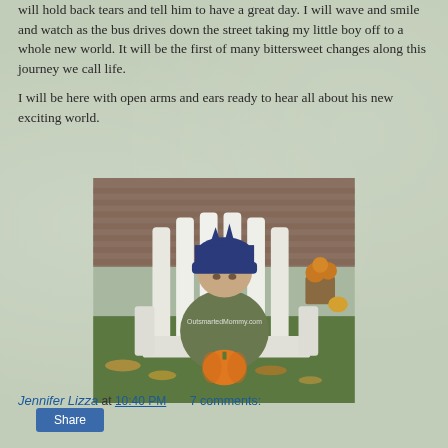will hold back tears and tell him to have a great day. I will wave and smile and watch as the bus drives down the street taking my little boy off to a whole new world. It will be the first of many bittersweet changes along this journey we call life.
I will be here with open arms and ears ready to hear all about his new exciting world.
[Figure (photo): A young toddler wearing a dark blue knit hat sitting in a white Adirondack chair outdoors, holding a small orange pumpkin. Fall setting with grass, fallen leaves, orange mums in a pot, and a small pumpkin visible in the background. Watermark text reads 'OutsmartedMommy.com'.]
Jennifer Lizza at 10:40 PM   7 comments:
Share